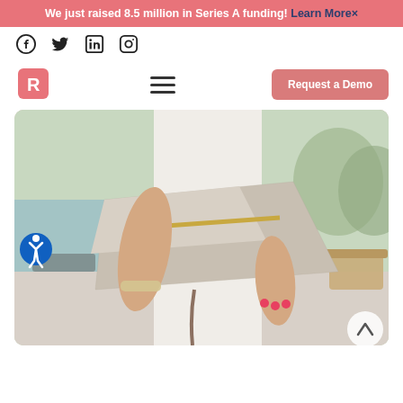We just raised 8.5 million in Series A funding! Learn More ×
[Figure (logo): Social media icons: Facebook, Twitter, LinkedIn, Instagram]
[Figure (logo): Navigation bar with R logo, hamburger menu, and Request a Demo button]
[Figure (photo): Woman in white dress holding a taupe snakeskin-textured envelope clutch purse with gold hardware, wearing a crystal bracelet, with outdoor setting in background]